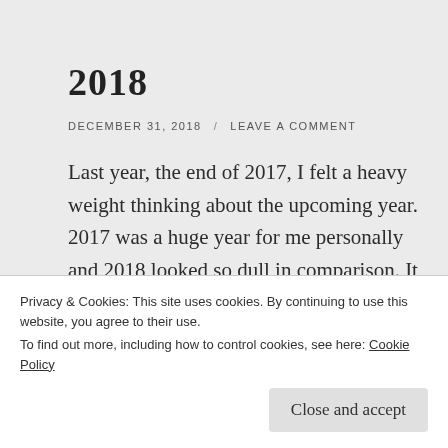2018
DECEMBER 31, 2018  /  LEAVE A COMMENT
Last year, the end of 2017, I felt a heavy weight thinking about the upcoming year. 2017 was a huge year for me personally and 2018 looked so dull in comparison. It was going to be a year of grinding work, knowing that the goals I set out to accomplish would take time to achieve.
Privacy & Cookies: This site uses cookies. By continuing to use this website, you agree to their use.
To find out more, including how to control cookies, see here: Cookie Policy